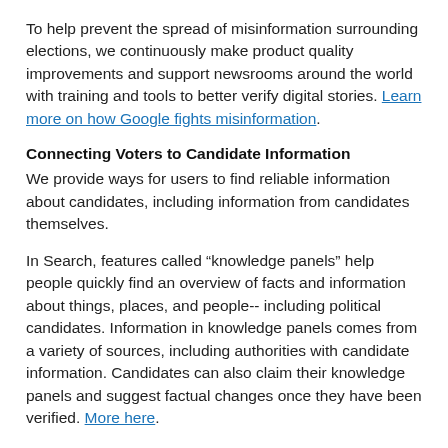To help prevent the spread of misinformation surrounding elections, we continuously make product quality improvements and support newsrooms around the world with training and tools to better verify digital stories. Learn more on how Google fights misinformation.
Connecting Voters to Candidate Information
We provide ways for users to find reliable information about candidates, including information from candidates themselves.
In Search, features called “knowledge panels” help people quickly find an overview of facts and information about things, places, and people-- including political candidates. Information in knowledge panels comes from a variety of sources, including authorities with candidate information. Candidates can also claim their knowledge panels and suggest factual changes once they have been verified. More here.